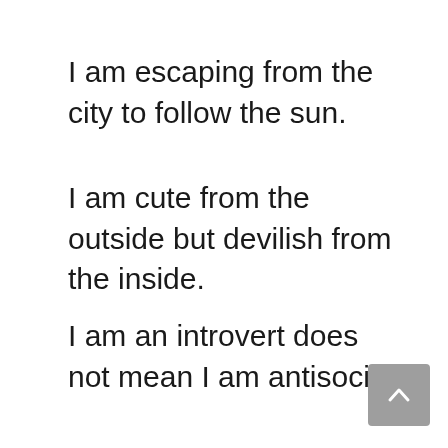I am escaping from the city to follow the sun.
I am cute from the outside but devilish from the inside.
I am an introvert does not mean I am antisocial.
I Need Vitamin Sea.
Hugs, kisses and lots of birthday witches!